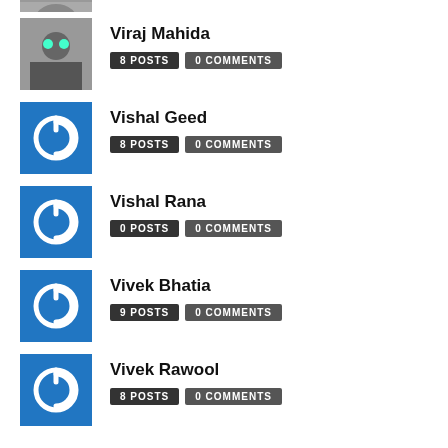[Figure (photo): Partial avatar photo at top, cropped]
Viraj Mahida — 8 POSTS, 0 COMMENTS
Vishal Geed — 8 POSTS, 0 COMMENTS
Vishal Rana — 0 POSTS, 0 COMMENTS
Vivek Bhatia — 9 POSTS, 0 COMMENTS
Vivek Rawool — 8 POSTS, 0 COMMENTS